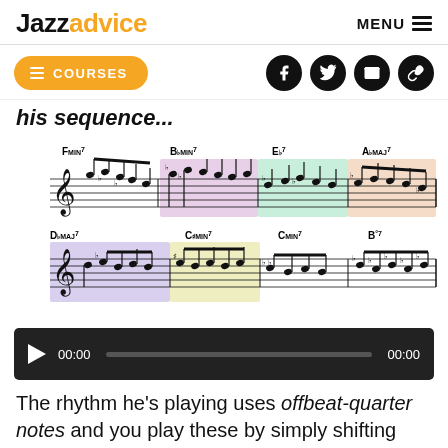Jazzadvice | MENU
COURSES | social icons (Facebook, Twitter, Email, Link)
his sequence...
[Figure (illustration): Sheet music notation showing a jazz sequence over chord changes: FMin7, BbMin7, Eb7, AbMaj7 (top row) and DbMaj7, CMin7, CMin7, B°7 (bottom row), with colored highlighted sections]
[Figure (other): Audio player bar with play button, timestamp 00:00, progress bar, and end timestamp 00:00]
The rhythm he's playing uses offbeat-quarter notes and you play these by simply shifting